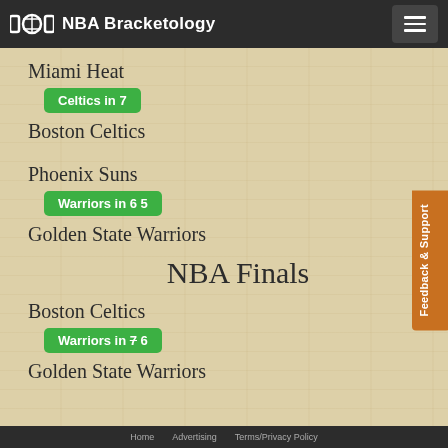NBA Bracketology
Miami Heat
Celtics in 7
Boston Celtics
Phoenix Suns
Warriors in 6 5
Golden State Warriors
NBA Finals
Boston Celtics
Warriors in 7 6
Golden State Warriors
Home · Advertising · Terms/Privacy Policy